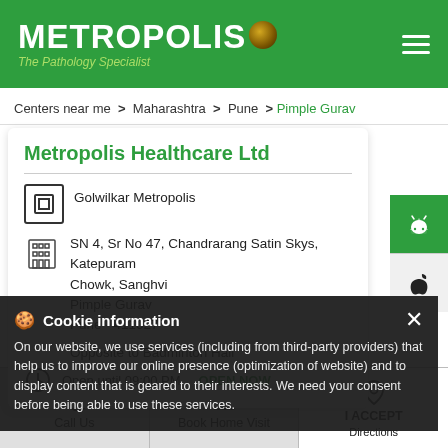[Figure (logo): Metropolis The Pathology Specialist logo with green background, white text and globe icon]
Centers near me > Maharashtra > Pune > Pimple Gurav
Metropolis Healthcare Ltd
Golwilkar Metropolis
SN 4, Sr No 47, Chandrarang Satin Skys, Katepuram Chowk, Sanghvi
Pimple Gurav
Pune - 411027
Opposite to Badminton Hall
Open until 09:00 PM   OPEN NOW
Cookie information
On our website, we use services (including from third-party providers) that help us to improve our online presence (optimization of website) and to display content that is geared to their interests. We need your consent before being able to use these services.
Call Us
Book Home Visit
Directions
I ACCEPT